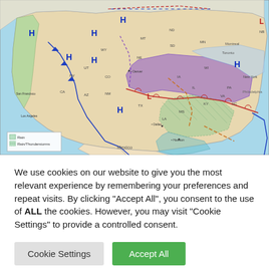[Figure (map): US weather map showing fronts valid 7am EST Fri Jan 01 2021, with high pressure systems (H), low pressure systems (L), cold fronts, warm fronts, and precipitation areas including rain/thunderstorms, with a legend in lower left. States labeled, cities marked including Denver, Dallas, Houston, Los Angeles, San Francisco. Purple shading indicates winter weather, green hatching indicates rain areas.]
We use cookies on our website to give you the most relevant experience by remembering your preferences and repeat visits. By clicking “Accept All”, you consent to the use of ALL the cookies. However, you may visit "Cookie Settings" to provide a controlled consent.